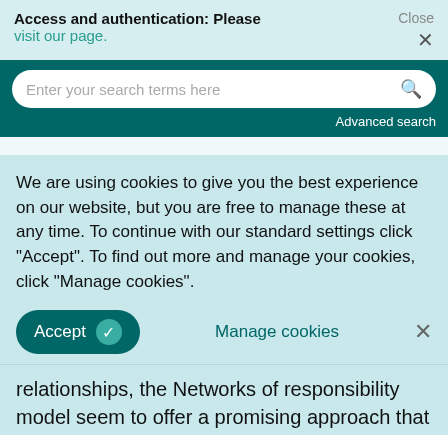Access and authentication: Please visit our page.
[Figure (screenshot): Search bar with placeholder text 'Enter your search terms here' and a magnifying glass icon, on a dark teal background, with 'Advanced search' link below.]
We are using cookies to give you the best experience on our website, but you are free to manage these at any time. To continue with our standard settings click "Accept". To find out more and manage your cookies, click "Manage cookies".
Accept   Manage cookies   ×
relationships, the Networks of responsibility model seem to offer a promising approach that can